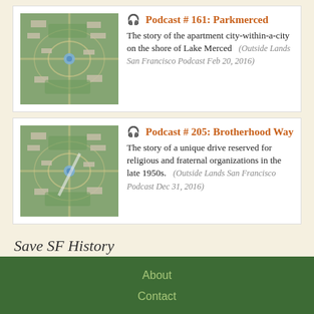[Figure (photo): Aerial map view of Parkmerced apartment complex]
Podcast # 161: Parkmerced
The story of the apartment city-within-a-city on the shore of Lake Merced (Outside Lands San Francisco Podcast Feb 20, 2016)
[Figure (photo): Aerial map view of Brotherhood Way area]
Podcast # 205: Brotherhood Way
The story of a unique drive reserved for religious and fraternal organizations in the late 1950s. (Outside Lands San Francisco Podcast Dec 31, 2016)
Save SF History
$25  $50  $100  ?
About  Contact